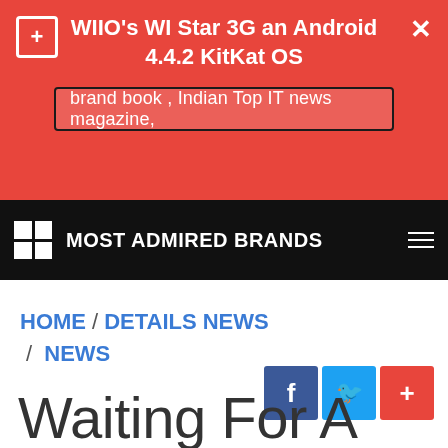WIIO's WI Star 3G an Android 4.4.2 KitKat OS
brand book , Indian Top IT news magazine,
MOST ADMIRED BRANDS
HOME / DETAILS NEWS / NEWS
Waiting For A Cybersecurity